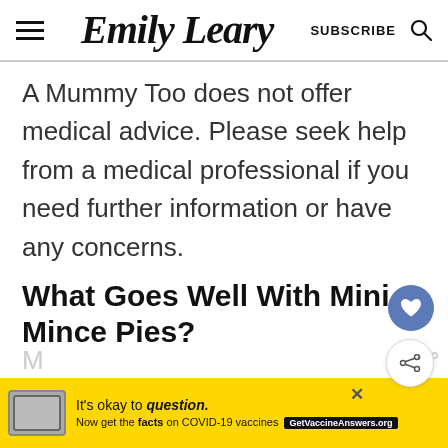Emily Leary — SUBSCRIBE
A Mummy Too does not offer medical advice. Please seek help from a medical professional if you need further information or have any concerns.
What Goes Well With Mini Mince Pies?
[Figure (other): Advertisement banner: yellow background with a stamp graphic. Text reads: It's okay to question. Now get the facts on COVID-19 vaccines. GetVaccineAnswers.org]